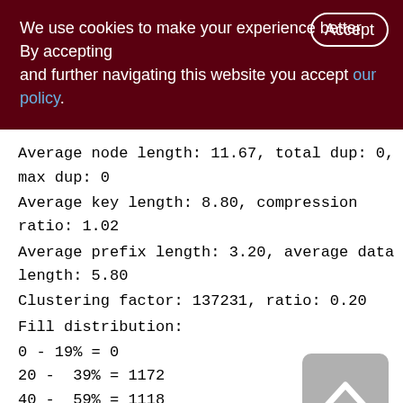We use cookies to make your experience better. By accepting and further navigating this website you accept our policy.
Average node length: 11.67, total dup: 0, max dup: 0
Average key length: 8.80, compression ratio: 1.02
Average prefix length: 3.20, average data length: 5.80
Clustering factor: 137231, ratio: 0.20
Fill distribution:
0 - 19% = 0
20 - 39% = 1172
40 - 59% = 1118
60 - 79% = 89
80 - 99% = 10